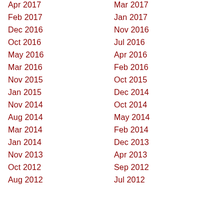Apr 2017
Mar 2017
Feb 2017
Jan 2017
Dec 2016
Nov 2016
Oct 2016
Jul 2016
May 2016
Apr 2016
Mar 2016
Feb 2016
Nov 2015
Oct 2015
Jan 2015
Dec 2014
Nov 2014
Oct 2014
Aug 2014
May 2014
Mar 2014
Feb 2014
Jan 2014
Dec 2013
Nov 2013
Apr 2013
Oct 2012
Sep 2012
Aug 2012
Jul 2012